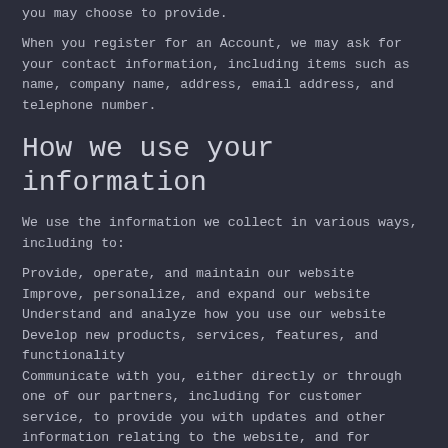you may choose to provide.
When you register for an Account, we may ask for your contact information, including items such as name, company name, address, email address, and telephone number.
How we use your information
We use the information we collect in various ways, including to:
Provide, operate, and maintain our website
Improve, personalize, and expand our website
Understand and analyze how you use our website
Develop new products, services, features, and functionality
Communicate with you, either directly or through one of our partners, including for customer service, to provide you with updates and other information relating to the website, and for marketing and promotional purposes
Send you emails
Find and prevent fraud
Log Files